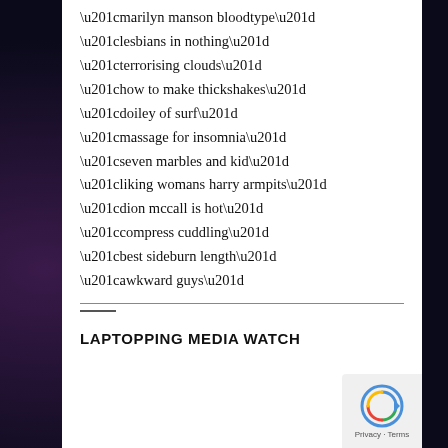“marilyn manson bloodtype”
“lesbians in nothing”
“terrorising clouds”
“how to make thickshakes”
“doiley of surf”
“massage for insomnia”
“seven marbles and kid”
“liking womans harry armpits”
“dion mccall is hot”
“compress cuddling”
“best sideburn length”
“awkward guys”
LAPTOPPING MEDIA WATCH